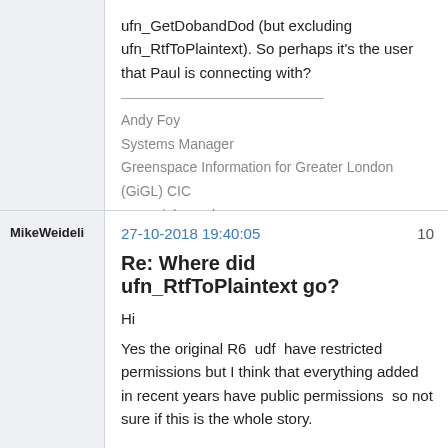ufn_GetDobandDod (but excluding ufn_RtfToPlaintext).  So perhaps it's the user that Paul is connecting with?
Andy Foy
Systems Manager
Greenspace Information for Greater London (GiGL) CIC
www.gigl.org.uk
MikeWeideli
27-10-2018 19:40:05
10
Re: Where did ufn_RtfToPlaintext go?
Hi
Yes the original R6  udf  have restricted permissions but I think that everything added in recent years have public permissions  so not sure if this is the whole story.